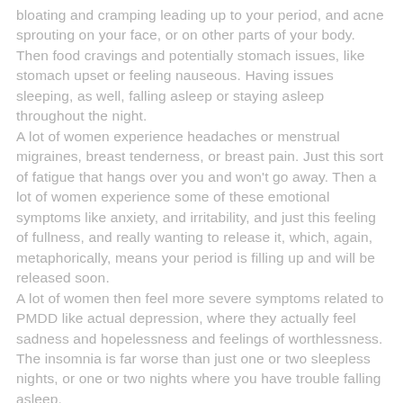bloating and cramping leading up to your period, and acne sprouting on your face, or on other parts of your body. Then food cravings and potentially stomach issues, like stomach upset or feeling nauseous. Having issues sleeping, as well, falling asleep or staying asleep throughout the night. A lot of women experience headaches or menstrual migraines, breast tenderness, or breast pain. Just this sort of fatigue that hangs over you and won't go away. Then a lot of women experience some of these emotional symptoms like anxiety, and irritability, and just this feeling of fullness, and really wanting to release it, which, again, metaphorically, means your period is filling up and will be released soon. A lot of women then feel more severe symptoms related to PMDD like actual depression, where they actually feel sadness and hopelessness and feelings of worthlessness. The insomnia is far worse than just one or two sleepless nights, or one or two nights where you have trouble falling asleep.